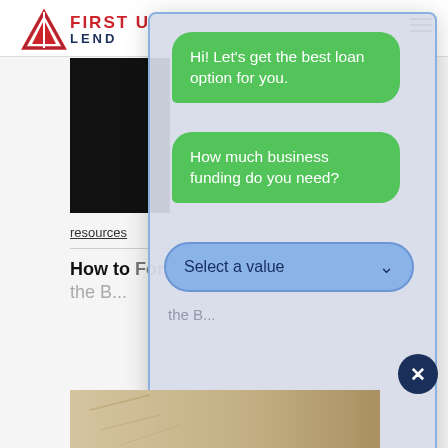[Figure (screenshot): Website screenshot showing First Union Lending website header with red and navy logo and hamburger menu]
resources
How to Form G... the B...
[Figure (screenshot): Chat overlay with two green speech bubbles: 'Hi! Let's get the best loan option for you.' and 'How much business funding do you need?' with a blue 'Select a value' dropdown]
Hi! Let's get the best loan option for you.
How much business funding do you need?
Select a value
Author: First Union
[Figure (photo): Partially visible bottom image strip]